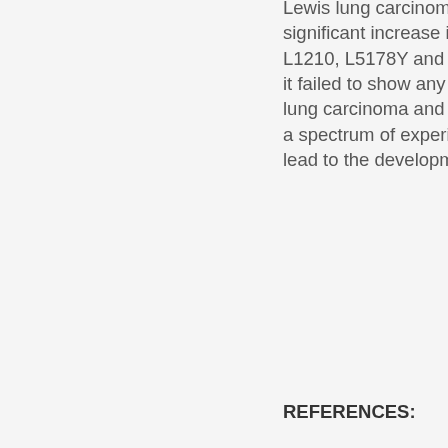Lewis lung carcinoma and sarcoma-180. RC-18 exhibited significant increase in life span of ascites leukaemia P388, L1210, L5178Y and a solid tumour B16 melanoma. However, it failed to show any inhibitory effect on solid tumours, Lewis lung carcinoma and sarcoma 180. Promising results against a spectrum of experimental tumours suggest that RC-18 may lead to the development of a potential anti-cancer agent.
REFERENCES:
1. Badyal DK, Lata H and Dadhich AP: Animal models of hypertension and effect of drugs. Indian Journal of Pharmacology 2003; 35:349-